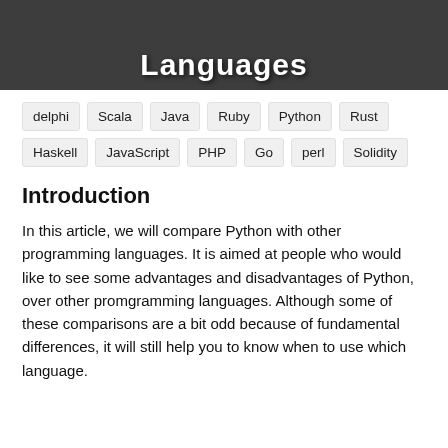[Figure (other): Dark grey banner header with bold white text partially visible at bottom reading 'Languages' (top portion cut off)]
delphi
Scala
Java
Ruby
Python
Rust
Haskell
JavaScript
PHP
Go
perl
Solidity
Introduction
In this article, we will compare Python with other programming languages. It is aimed at people who would like to see some advantages and disadvantages of Python, over other promgramming languages. Although some of these comparisons are a bit odd because of fundamental differences, it will still help you to know when to use which language.